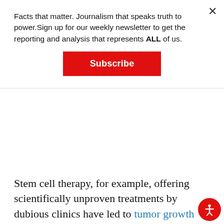Facts that matter. Journalism that speaks truth to power. Sign up for our weekly newsletter to get the reporting and analysis that represents ALL of us.
Subscribe
Stem cell therapy, for example, offering scientifically unproven treatments by dubious clinics have led to tumor growth and blindness. Even more dangerous, this type of rhetoric has led to crowdfunding campaigns for alternative cancer treatments—last year a study in The Lancet found there were 200 GoFundMe campaigns that raised more than $1.4 million in funding for homeopathic cancer treatments (researchers discovered that at the time of the search at least 28 percent of those seeking